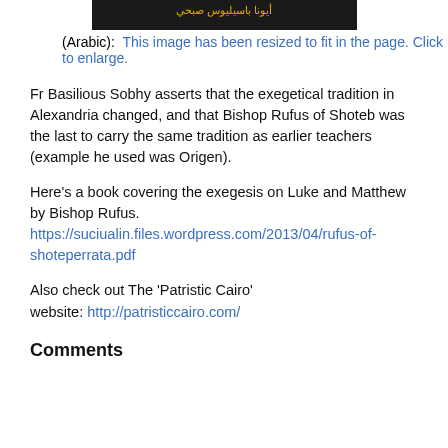[Figure (photo): Dark image banner with Arabic text in orange/yellow on a black background]
(Arabic):  This image has been resized to fit in the page. Click to enlarge.
Fr Basilious Sobhy asserts that the exegetical tradition in Alexandria changed, and that Bishop Rufus of Shoteb was the last to carry the same tradition as earlier teachers (example he used was Origen).
Here's a book covering the exegesis on Luke and Matthew by Bishop Rufus. https://suciualin.files.wordpress.com/2013/04/rufus-of-shoteperrata.pdf
Also check out The 'Patristic Cairo' website: http://patristiccairo.com/
Comments